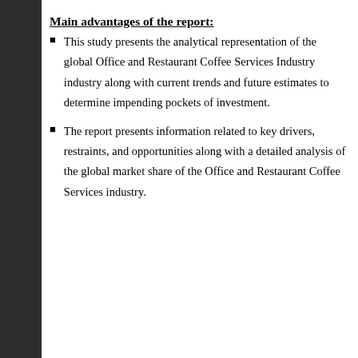Main advantages of the report:
This study presents the analytical representation of the global Office and Restaurant Coffee Services Industry industry along with current trends and future estimates to determine impending pockets of investment.
The report presents information related to key drivers, restraints, and opportunities along with a detailed analysis of the global market share of the Office and Restaurant Coffee Services industry.